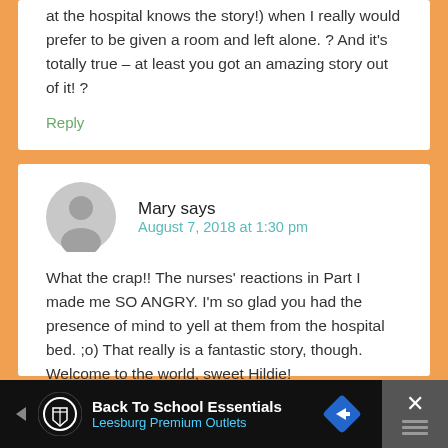at the hospital knows the story!) when I really would prefer to be given a room and left alone. ? And it's totally true – at least you got an amazing story out of it! ?
Reply
Mary says
August 7, 2018 at 1:30 pm
What the crap!! The nurses' reactions in Part I made me SO ANGRY. I'm so glad you had the presence of mind to yell at them from the hospital bed. ;o) That really is a fantastic story, though. Welcome to the world, sweet Hildie!
Back To School Essentials
Leesburg Premium Outlets